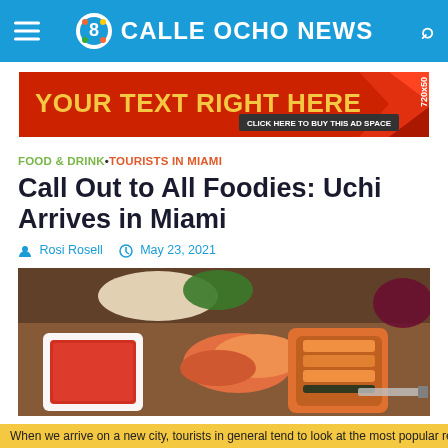CALLE OCHO NEWS
[Figure (infographic): Advertisement banner: red background with text 'YOUR TEXT RIGHT HERE' in yellow, 'CLICK HERE TO BUY THIS AD SPACE' in white, and '720x50' rotated on the right side with red ribbon graphic]
FOOD & DRINK • TOURISTS IN MIAMI
Call Out to All Foodies: Uchi Arrives in Miami
Rosi Rosell   May 23, 2021
[Figure (photo): Close-up photo of sushi rolls, salmon nigiri, shrimp, and a dish of red roe sauce on a wooden board]
When we arrive on a new city, tourists in general tend to look at...